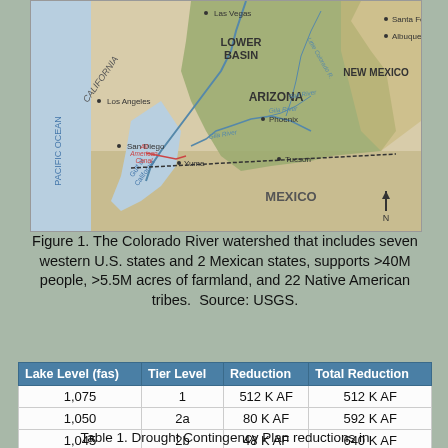[Figure (map): Map of the Colorado River watershed showing the Lower Basin including Arizona, parts of California, Nevada, New Mexico, and Mexico. Notable cities include Las Vegas, Los Angeles, San Diego, Yuma, Phoenix, Tucson, Santa Fe, Albuquerque. Features include the All American Canal, Gila River, Salt River, Gulf of California, Pacific Ocean label, and a north arrow. Mexico is labeled at the bottom.]
Figure 1. The Colorado River watershed that includes seven western U.S. states and 2 Mexican states, supports >40M people, >5.5M acres of farmland, and 22 Native American tribes.  Source: USGS.
| Lake Level (fas) | Tier Level | Reduction | Total Reduction |
| --- | --- | --- | --- |
| 1,075 | 1 | 512 K AF | 512 K AF |
| 1,050 | 2a | 80 K AF | 592 K AF |
| 1,045 | 2b | 48 K AF | 640 K AF |
| 1,025 | 3 | 480 K AF | 1.2 M AF |
Table 1. Drought Contingency Plan reductions in